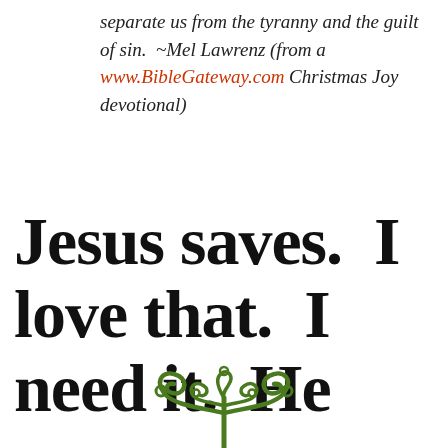separate us from the tyranny and the guilt of sin.  ~Mel Lawrenz (from a www.BibleGateway.com Christmas Joy devotional)
Jesus saves.  I love that.  I need it.  He saves.
[Figure (illustration): Decorative green vine/scroll ornament at the bottom center of the page]